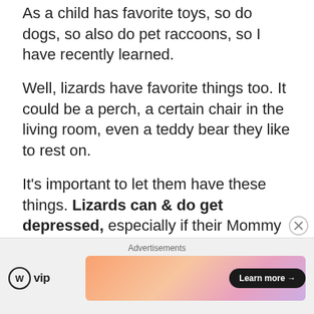As a child has favorite toys, so do dogs, so also do pet raccoons, so I have recently learned.
Well, lizards have favorite things too. It could be a perch, a certain chair in the living room, even a teddy bear they like to rest on.
It’s important to let them have these things. Lizards can & do get depressed, especially if their Mommy or Daddy is gone for days or if they are in their cage days in a row without attention or exercise! Who or what couldn’t
[Figure (infographic): Advertisement bar with WordPress VIP logo on the left and a gradient orange-pink banner ad with a Learn more button on the right. A close (X) button overlays the top-right corner.]